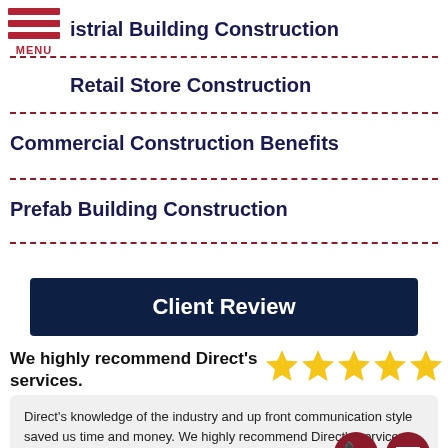istrial Building Construction
Retail Store Construction
Commercial Construction Benefits
Prefab Building Construction
Client Review
We highly recommend Direct's services.
Direct's knowledge of the industry and up front communication style saved us time and money. We highly recommend Direct's services.... read more